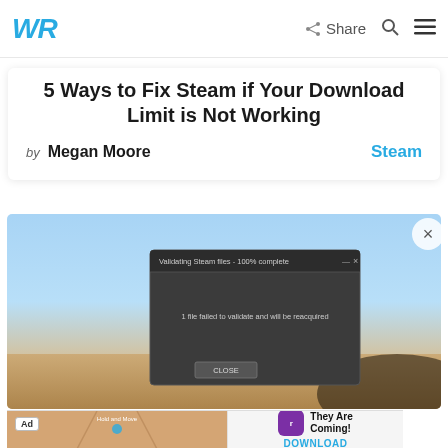WR | Share
5 Ways to Fix Steam if Your Download Limit is Not Working
by Megan Moore  Steam
[Figure (screenshot): Screenshot of a Steam dialog box showing 'Validating Steam files - 100% complete' with message '1 file failed to validate and will be reacquired' and a CLOSE button, displayed over a blue sky and landscape background.]
[Figure (screenshot): Ad banner for a mobile game app 'They Are Coming!' by Rollic, showing a Hold and Move game preview with an option to DOWNLOAD.]